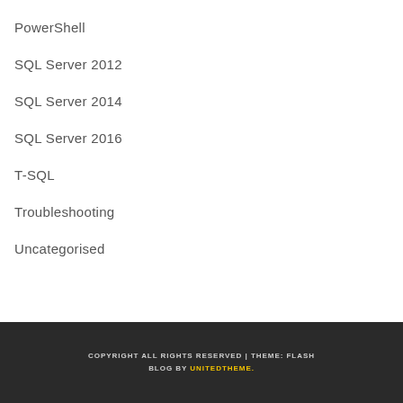PowerShell
SQL Server 2012
SQL Server 2014
SQL Server 2016
T-SQL
Troubleshooting
Uncategorised
COPYRIGHT ALL RIGHTS RESERVED | THEME: FLASH BLOG BY UNITEDTHEME.